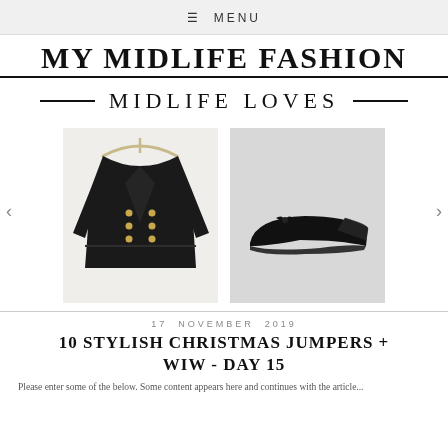≡ MENU
MY MIDLIFE FASHION
MIDLIFE LOVES
[Figure (photo): Two product photos: a black double-breasted coat on a hanger (left) and black ballet flats with bow detail (right), shown as a carousel with left/right navigation arrows.]
17 NOVEMBER 2019
10 STYLISH CHRISTMAS JUMPERS + WIW - DAY 15
Please enter some of the below. Some content would go here with the...